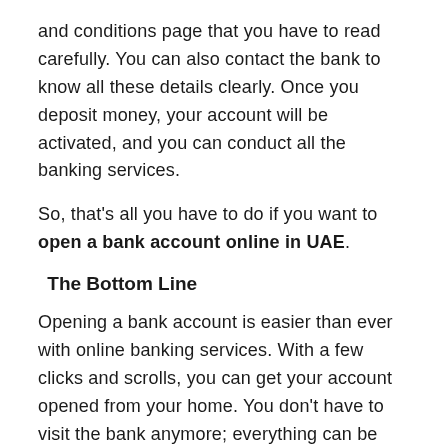and conditions page that you have to read carefully. You can also contact the bank to know all these details clearly. Once you deposit money, your account will be activated, and you can conduct all the banking services.
So, that's all you have to do if you want to open a bank account online in UAE.
The Bottom Line
Opening a bank account is easier than ever with online banking services. With a few clicks and scrolls, you can get your account opened from your home. You don't have to visit the bank anymore; everything can be done online.
The d...